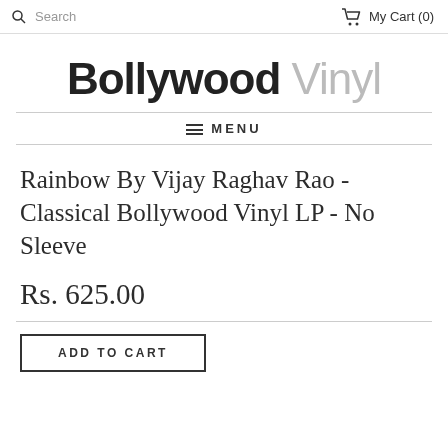Search  My Cart (0)
[Figure (logo): Bollywood Vinyl logo — 'Bollywood' in bold dark sans-serif, 'Vinyl' in light grey sans-serif]
≡ MENU
Rainbow By Vijay Raghav Rao - Classical Bollywood Vinyl LP - No Sleeve
Rs. 625.00
ADD TO CART